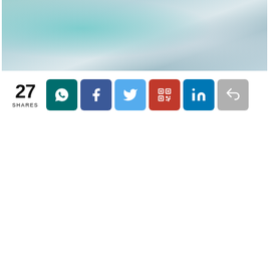[Figure (photo): Hero image showing abstract teal and grey rounded shapes, possibly dental or medical instruments]
27 SHARES
[Figure (infographic): Row of social share buttons: WhatsApp (teal), Facebook (blue), Twitter (light blue), QR code (red), LinkedIn (blue), Share (grey)]